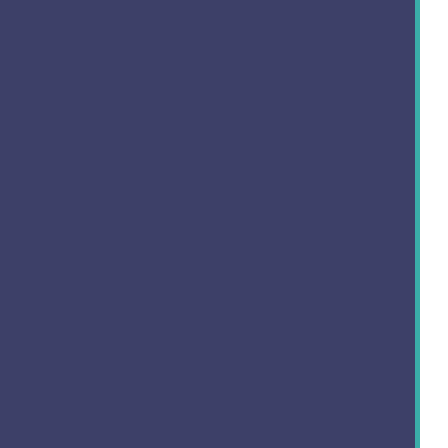did. In City Bird it is the boy who is at the centre of the passage: the ghost is a sort of Frankenstein o...
The boy has nightmares and makes up ghas... demon, then something happens to the boy o... silent movie inter-titles: his tower (the city) is t... his white coffin and he becomes a ghost, s... refused and becomes a refugee with nowhere... boy so he returns to the ghost's house and we... host for waywardly spirits like the dead boy. B... he change? Can he let go of his fear of her... enter as she beckons him in? The song ends... leave the audience there just as the music c... book by its cover and misunderstanding some... on the street and pretend they are invisible li... inner life. Can we let go of our prejudices an... that the issues that made them homeless ar... prey on and haunt us at any time? That's kin... at.
[Figure (photo): A dark navy/dark blue fabric or clothing item in the background with a lighter cream/beige area to the left, and a small ornamental object (possibly floral or decorative) visible at the bottom right.]